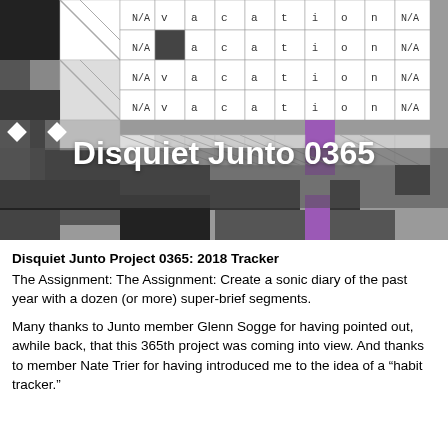[Figure (illustration): A crossword/habit-tracker grid image with black, gray, white, and purple cells. Some cells contain letters spelling 'vacation' and 'N/A'. Overlaid text reads 'Disquiet Junto 0365' in white bold.]
Disquiet Junto Project 0365: 2018 Tracker
The Assignment: The Assignment: Create a sonic diary of the past year with a dozen (or more) super-brief segments.
Many thanks to Junto member Glenn Sogge for having pointed out, awhile back, that this 365th project was coming into view. And thanks to member Nate Trier for having introduced me to the idea of a “habi tracker.”